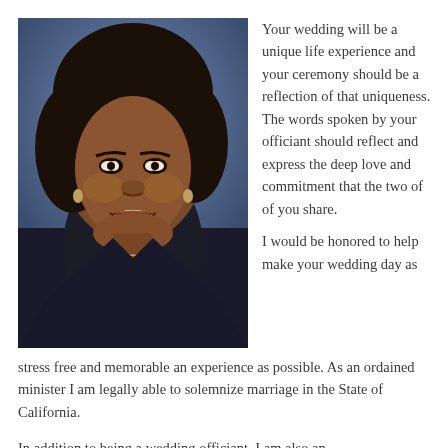[Figure (photo): Portrait photo of a smiling African-American woman with dark hair, wearing a dark top and a necklace, photographed against a blue background.]
Your wedding will be a unique life experience and your ceremony should be a reflection of that uniqueness. The words spoken by your officiant should reflect and express the deep love and commitment that the two of of you share.

I would be honored to help make your wedding day as stress free and memorable an experience as possible. As an ordained minister I am legally able to solemnize marriage in the State of California.

In addition to being a wedding officiant, I am also an
In addition to being a wedding officiant, I am also an